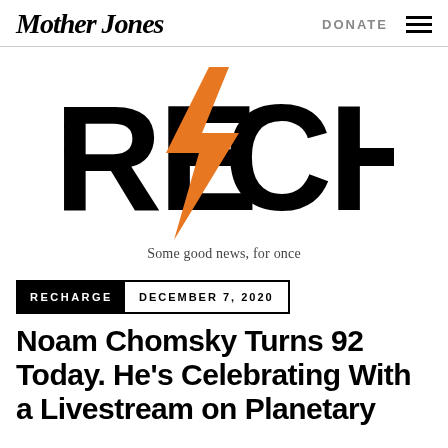Mother Jones  DONATE
[Figure (logo): RECHARGE logo with orange lightning bolt replacing the slash between RE and CHARGE, large black bold text]
Some good news, for once
RECHARGE  DECEMBER 7, 2020
Noam Chomsky Turns 92 Today. He's Celebrating With a Livestream on Planetary